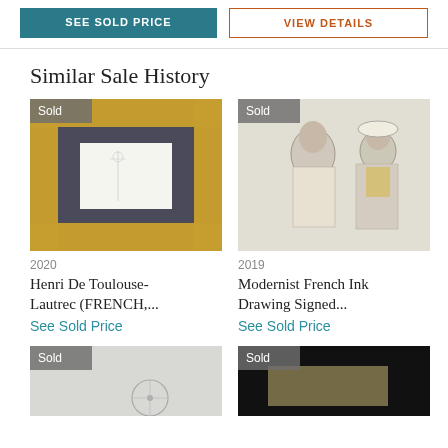SEE SOLD PRICE | VIEW DETAILS
Similar Sale History
[Figure (photo): Artwork in ornate gold frame with 'Sold' badge, 2020, Henri De Toulouse-Lautrec (FRENCH,...]
2020
Henri De Toulouse-Lautrec (FRENCH,...
See Sold Price
[Figure (photo): Modernist French ink drawing with women figures, 'Sold' badge, 2019]
2019
Modernist French Ink Drawing Signed...
See Sold Price
[Figure (photo): Bottom left artwork with 'Sold' badge, partially visible]
[Figure (photo): Bottom right artwork with 'Sold' badge, partially visible]